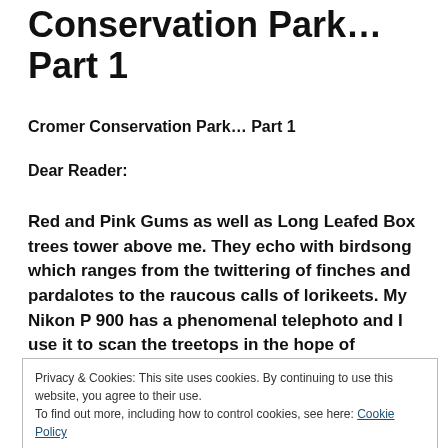Conservation Park… Part 1
Cromer Conservation Park… Part 1
Dear Reader:
Red and Pink Gums as well as Long Leafed Box trees tower above me. They echo with birdsong which ranges from the twittering of finches and pardalotes to the raucous calls of lorikeets. My Nikon P 900 has a phenomenal telephoto and I use it to scan the treetops in the hope of identifying the birds and capturing an
Privacy & Cookies: This site uses cookies. By continuing to use this website, you agree to their use.
To find out more, including how to control cookies, see here: Cookie Policy
While I continue to search the foliage for a makeable